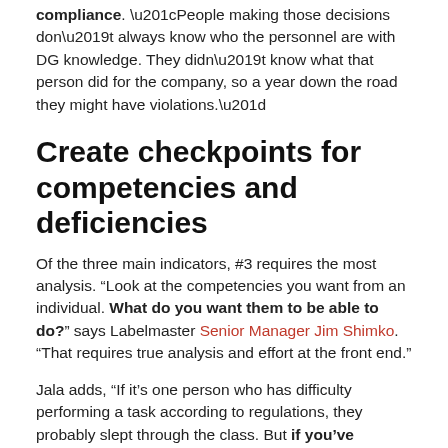compliance. “People making those decisions don’t always know who the personnel are with DG knowledge. They didn’t know what that person did for the company, so a year down the road they might have violations.”
Create checkpoints for competencies and deficiencies
Of the three main indicators, #3 requires the most analysis. “Look at the competencies you want from an individual. What do you want them to be able to do?” says Labelmaster Senior Manager Jim Shimko. “That requires true analysis and effort at the front end.”
Jala adds, “If it’s one person who has difficulty performing a task according to regulations, they probably slept through the class. But if you’ve documented difficulties time after time, with everyone, it’s a systemic issue.”
That documentation requires some upfront planning. “When you create training, think about things to monitor to make